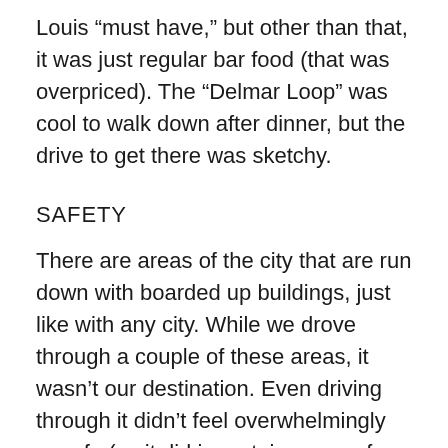Louis “must have,” but other than that, it was just regular bar food (that was overpriced). The “Delmar Loop” was cool to walk down after dinner, but the drive to get there was sketchy.
SAFETY
There are areas of the city that are run down with boarded up buildings, just like with any city. While we drove through a couple of these areas, it wasn’t our destination. Even driving through it didn’t feel overwhelmingly unsafe (as it did in certain areas of Detroit). Our destinations were always in safe-feeling areas that were clean and well-lit. Whether we were downtown or in the suburbs (where our AirBnB was), we weren’t concerned.
As for the pandemic concept, the mask mandate was put